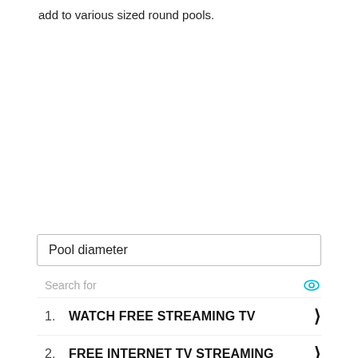add to various sized round pools.
Pool diameter
Search for
1. WATCH FREE STREAMING TV
2. FREE INTERNET TV STREAMING
Ad | Business Focus